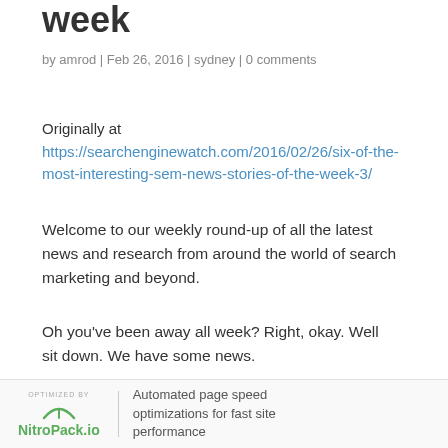week
by amrod | Feb 26, 2016 | sydney | 0 comments
Originally at https://searchenginewatch.com/2016/02/26/six-of-the-most-interesting-sem-news-stories-of-the-week-3/
Welcome to our weekly round-up of all the latest news and research from around the world of search marketing and beyond.
Oh you've been away all week? Right, okay. Well sit down. We have some news.
OPTIMIZED BY NitroPack.io | Automated page speed optimizations for fast site performance